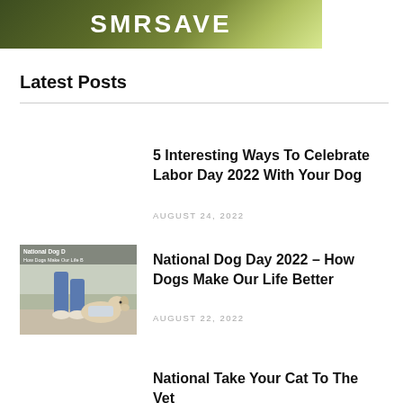SMRSAVE
Latest Posts
5 Interesting Ways To Celebrate Labor Day 2022 With Your Dog
AUGUST 24, 2022
[Figure (photo): Thumbnail image of a dog with National Dog Day text overlay]
National Dog Day 2022 – How Dogs Make Our Life Better
AUGUST 22, 2022
National Take Your Cat To The Vet